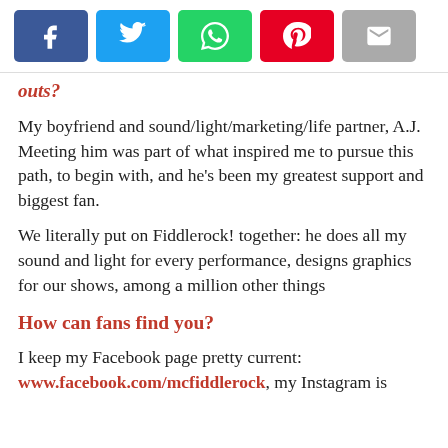[Figure (other): Social media share buttons row: Facebook (blue), Twitter (light blue), WhatsApp (green), Pinterest (red), Email (grey)]
outs?
My boyfriend and sound/light/marketing/life partner, A.J. Meeting him was part of what inspired me to pursue this path, to begin with, and he’s been my greatest support and biggest fan.
We literally put on Fiddlerock! together: he does all my sound and light for every performance, designs graphics for our shows, among a million other things
How can fans find you?
I keep my Facebook page pretty current: www.facebook.com/mcfiddlerock, my Instagram is